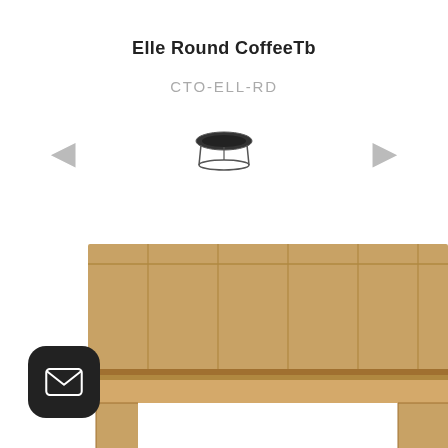Elle Round CoffeeTb
CTO-ELL-RD
[Figure (illustration): Small thumbnail image of the Elle Round Coffee Table, shown as a round dark-topped table with metal frame, centered between left and right navigation arrows]
[Figure (photo): Large close-up photo of a natural wood slatted rectangular coffee table top with thick wooden legs, partially cropped at bottom of page]
[Figure (illustration): Black rounded square email/message icon button in lower left corner]